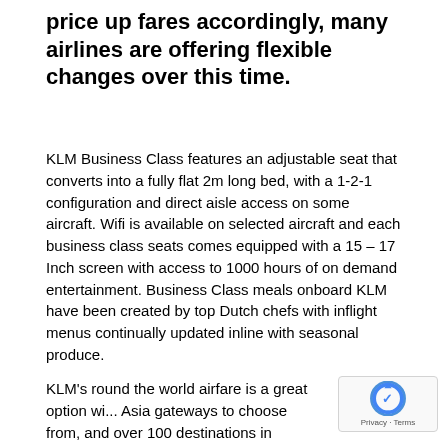price up fares accordingly, many airlines are offering flexible changes over this time.
KLM Business Class features an adjustable seat that converts into a fully flat 2m long bed, with a 1-2-1 configuration and direct aisle access on some aircraft. Wifi is available on selected aircraft and each business class seats comes equipped with a 15 – 17 Inch screen with access to 1000 hours of on demand entertainment. Business Class meals onboard KLM have been created by top Dutch chefs with inflight menus continually updated inline with seasonal produce.
KLM's round the world airfare is a great option wi... Asia gateways to choose from, and over 100 destinations in Europe, Between the USA and Australia
[Figure (other): reCAPTCHA badge with Privacy - Terms text]